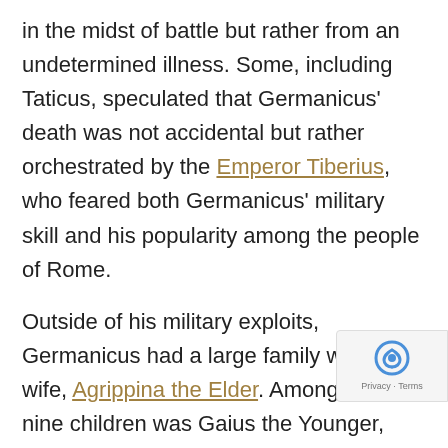in the midst of battle but rather from an undetermined illness. Some, including Taticus, speculated that Germanicus' death was not accidental but rather orchestrated by the Emperor Tiberius, who feared both Germanicus' military skill and his popularity among the people of Rome.
Outside of his military exploits, Germanicus had a large family with his wife, Agrippina the Elder. Among their nine children was Gaius the Younger, who, in 37 CE, would become the Emperor Caligula.
Bust of a Julio-Claudian Man (Germanicus), c. 30 CE. Museum of Fine Arts, Boston.
Nicolas Poussin, The Death of Germanicus, 1627. Oil on